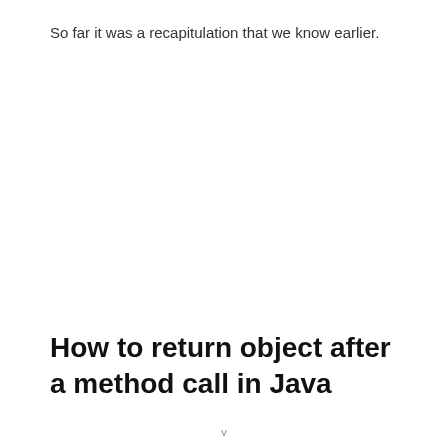So far it was a recapitulation that we know earlier.
How to return object after a method call in Java
v